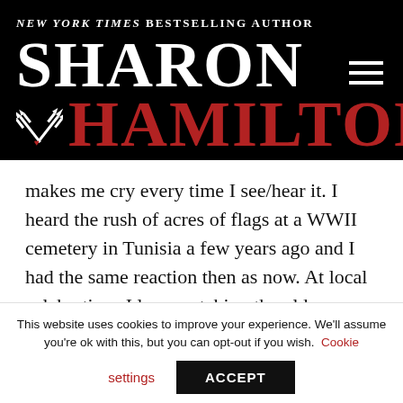NEW YORK TIMES BESTSELLING AUTHOR SHARON HAMILTON
makes me cry every time I see/hear it. I heard the rush of acres of flags at a WWII cemetery in Tunisia a few years ago and I had the same reaction then as now. At local celebrations I love watching the older men and women who've served this great country get up out of their wheelchairs sometimes to salute
This website uses cookies to improve your experience. We'll assume you're ok with this, but you can opt-out if you wish. Cookie settings ACCEPT